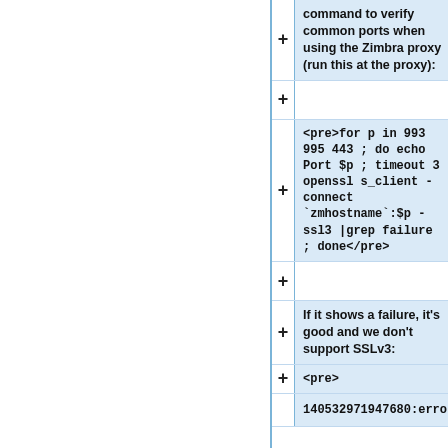command to verify common ports when using the Zimbra proxy (run this at the proxy):
<pre>for p in 993 995 443 ; do echo Port $p ; timeout 3 openssl s_client -connect `zmhostname`:$p -ssl3 |grep failure ; done</pre>
If it shows a failure, it's good and we don't support SSLv3:
<pre>
140532971947680:error:14094410:SSL